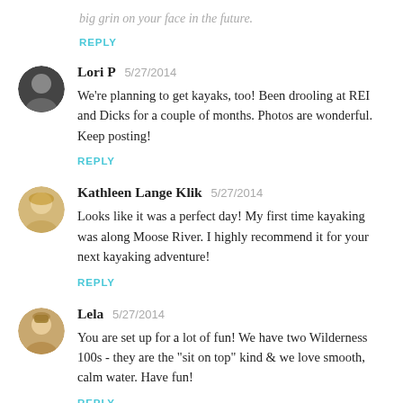big grin on your face in the future.
REPLY
Lori P  5/27/2014
We're planning to get kayaks, too! Been drooling at REI and Dicks for a couple of months. Photos are wonderful. Keep posting!
REPLY
Kathleen Lange Klik  5/27/2014
Looks like it was a perfect day! My first time kayaking was along Moose River. I highly recommend it for your next kayaking adventure!
REPLY
Lela  5/27/2014
You are set up for a lot of fun! We have two Wilderness 100s - they are the "sit on top" kind & we love smooth, calm water. Have fun!
REPLY